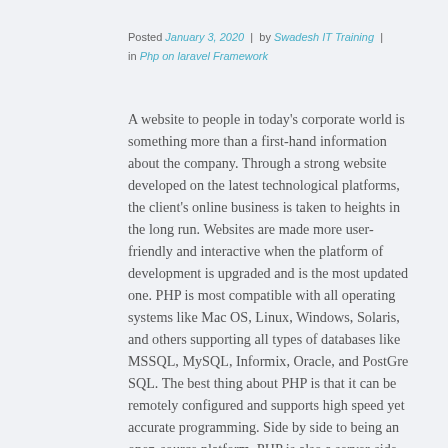Posted January 3, 2020 | by Swadesh IT Training | in Php on laravel Framework
A website to people in today's corporate world is something more than a first-hand information about the company. Through a strong website developed on the latest technological platforms, the client's online business is taken to heights in the long run. Websites are made more user-friendly and interactive when the platform of development is upgraded and is the most updated one. PHP is most compatible with all operating systems like Mac OS, Linux, Windows, Solaris, and others supporting all types of databases like MSSQL, MySQL, Informix, Oracle, and PostGre SQL. The best thing about PHP is that it can be remotely configured and supports high speed yet accurate programming. Side by side to being an open-source platform, PHP is also a server-side scripting language and can be easily embedded into the HTML. The outraging advantages of PHP in web development make it the most popular language worldwide. Some of them are mentioned below.